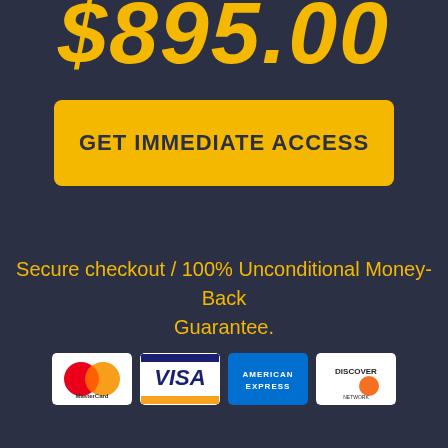$895.00
GET IMMEDIATE ACCESS
Secure checkout / 100% Unconditional Money-Back Guarantee.
[Figure (other): Payment method logos: MasterCard, Visa, American Express, Discover]